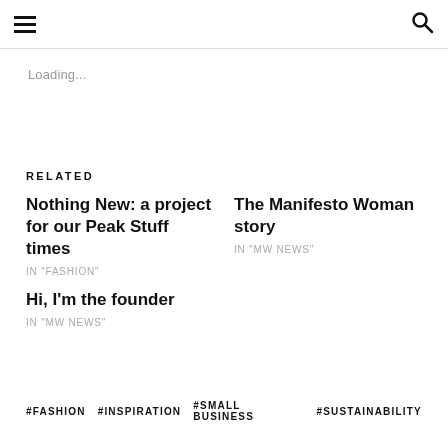≡  🔍
Loading...
RELATED
Nothing New: a project for our Peak Stuff times
IN "FASHION"
Hi, I'm the founder
IN "MW NEWS"
The Manifesto Woman story
IN "MW NEWS"
#FASHION  #INSPIRATION  #SMALL BUSINESS  #SUSTAINABILITY